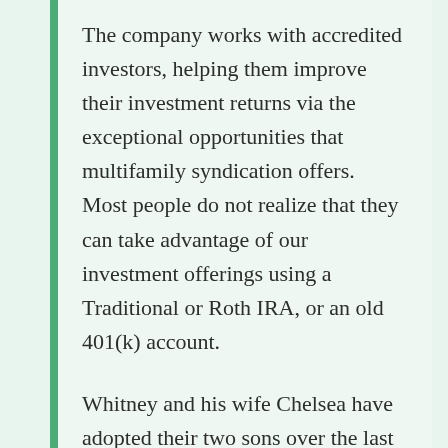The company works with accredited investors, helping them improve their investment returns via the exceptional opportunities that multifamily syndication offers.  Most people do not realize that they can take advantage of our investment offerings using a Traditional or Roth IRA, or an old 401(k) account.
Whitney and his wife Chelsea have adopted their two sons over the last four years. At the time of this writing, they are in the process of adopting their third child. They know the costs